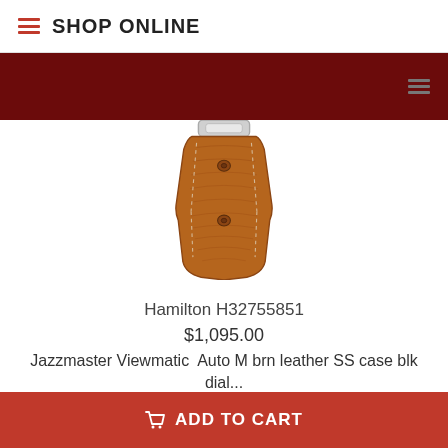SHOP ONLINE
[Figure (photo): Close-up photo of a brown leather watch strap with stitching and rivets, attached to a silver watch case clasp at the top]
Hamilton H32755851
$1,095.00
Jazzmaster Viewmatic  Auto M brn leather SS case blk dial...
ADD TO CART